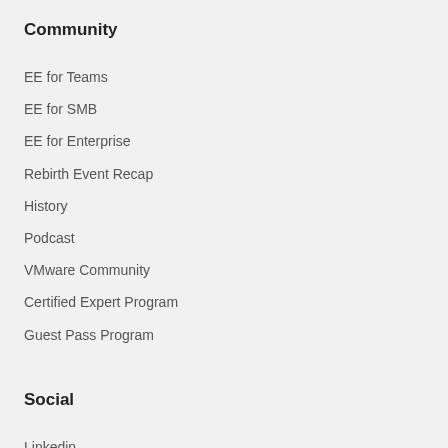Community
EE for Teams
EE for SMB
EE for Enterprise
Rebirth Event Recap
History
Podcast
VMware Community
Certified Expert Program
Guest Pass Program
Social
Linkedin
Twitter
Facebook
Instagram